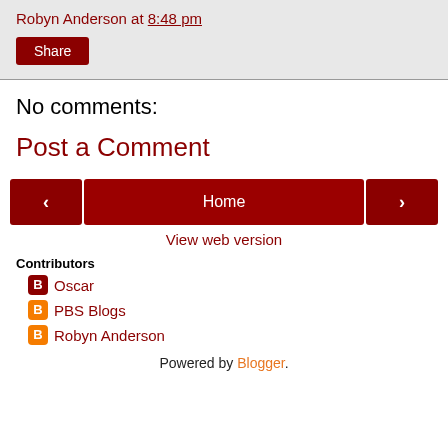Robyn Anderson at 8:48 pm
Share
No comments:
Post a Comment
< Home >
View web version
Contributors
Oscar
PBS Blogs
Robyn Anderson
Powered by Blogger.